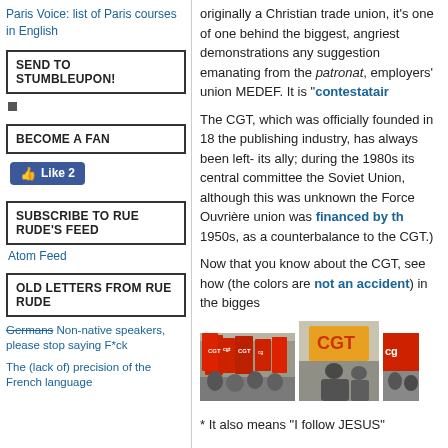Paris Voice: list of Paris courses in English
SEND TO STUMBLEUPON!
BECOME A FAN
Like 2
SUBSCRIBE TO RUE RUDE'S FEED
Atom Feed
OLD LETTERS FROM RUE RUDE
Germans Non-native speakers, please stop saying F*ck
The (lack of) precision of the French language
originally a Christian trade union, it's one of one behind the biggest, angriest demonstrations any suggestion emanating from the patronat, employers' union MEDEF. It is "contestatair
The CGT, which was officially founded in 18 the publishing industry, has always been left- its ally; during the 1980s its central committe the Soviet Union, although this was unknow the Force Ouvrière union was financed by th 1950s, as a counterbalance to the CGT.)
Now that you know about the CGT, see how (the colors are not an accident) in the bigges
[Figure (photo): Three photos of CGT union demonstrations with red and yellow CGT flags/banners being held by crowds]
* It also means "I follow JESUS"